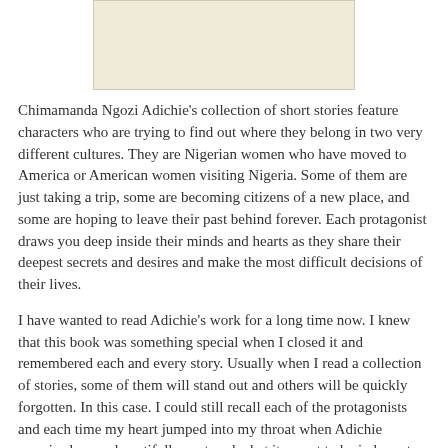[Figure (illustration): Book cover image placeholder — cream/beige colored rectangle representing a book cover]
Chimamanda Ngozi Adichie's collection of short stories feature characters who are trying to find out where they belong in two very different cultures. They are Nigerian women who have moved to America or American women visiting Nigeria. Some of them are just taking a trip, some are becoming citizens of a new place, and some are hoping to leave their past behind forever. Each protagonist draws you deep inside their minds and hearts as they share their deepest secrets and desires and make the most difficult decisions of their lives.
I have wanted to read Adichie's work for a long time now. I knew that this book was something special when I closed it and remembered each and every story. Usually when I read a collection of stories, some of them will stand out and others will be quickly forgotten. In this case. I could still recall each of the protagonists and each time my heart jumped into my throat when Adichie surprised me or beautifully captured what it meant to be in love, to want something better, or to feel better here...